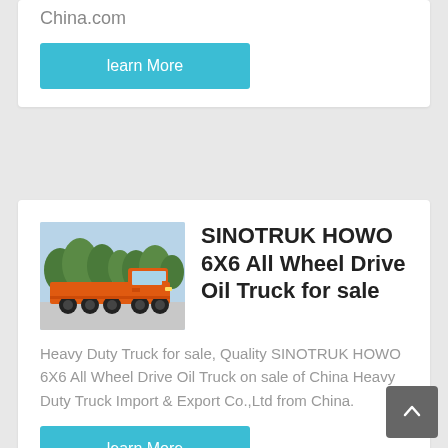China.com
learn More
[Figure (photo): Orange SINOTRUK HOWO 6X6 all wheel drive oil truck parked outdoors with trees in background]
SINOTRUK HOWO 6X6 All Wheel Drive Oil Truck for sale
Heavy Duty Truck for sale, Quality SINOTRUK HOWO 6X6 All Wheel Drive Oil Truck on sale of China Heavy Duty Truck Import & Export Co.,Ltd from China.
learn More